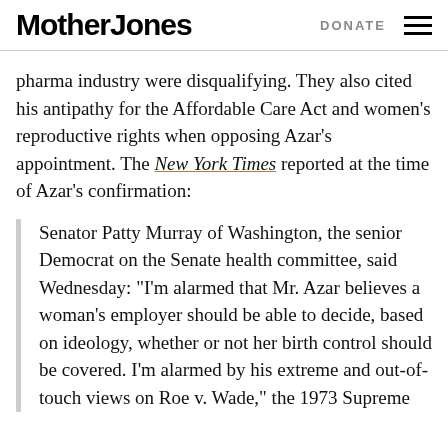Mother Jones | DONATE
pharma industry were disqualifying. They also cited his antipathy for the Affordable Care Act and women’s reproductive rights when opposing Azar’s appointment. The New York Times reported at the time of Azar’s confirmation:
Senator Patty Murray of Washington, the senior Democrat on the Senate health committee, said Wednesday: “I’m alarmed that Mr. Azar believes a woman’s employer should be able to decide, based on ideology, whether or not her birth control should be covered. I’m alarmed by his extreme and out-of-touch views on Roe v. Wade,” the 1973 Supreme